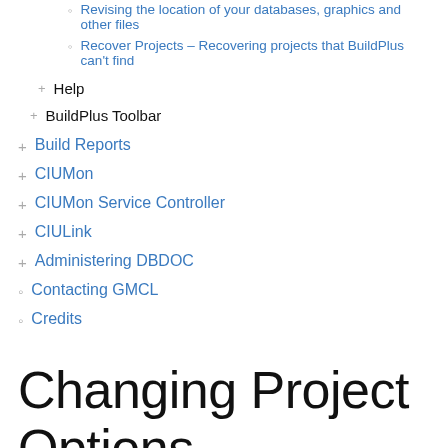Revising the location of your databases, graphics and other files
Recover Projects – Recovering projects that BuildPlus can't find
Help
BuildPlus Toolbar
Build Reports
CIUMon
CIUMon Service Controller
CIULink
Administering DBDOC
Contacting GMCL
Credits
Changing Project Options